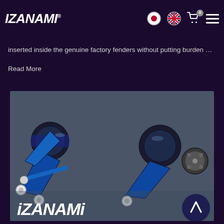iZANAMi® [navigation header with Japanese flag, UK flag, cart icon (0), and menu icon]
inserted inside the genuine factory fenders without putting burden …
Read More
[Figure (photo): Product photo of Izanami blue-coated rear suspension/knuckle assemblies with rod ends, displayed on a grey fabric background. The Izanami logo watermark is in the bottom-left corner of the image. A back-to-top arrow button is in the bottom-right corner.]